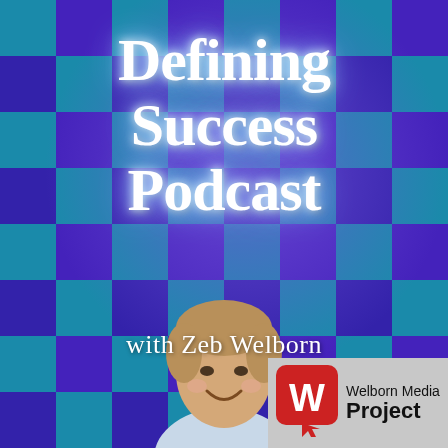[Figure (illustration): Checkerboard background with alternating blue and teal/purple squares covering the entire page]
Defining Success Podcast
with Zeb Welborn
[Figure (photo): Photo of a smiling man (Zeb Welborn) from shoulders up, centered at the bottom of the image]
[Figure (logo): Welborn Media Project logo: red rounded square with white W and cursor icon, grey background, text reads Welborn Media Project]